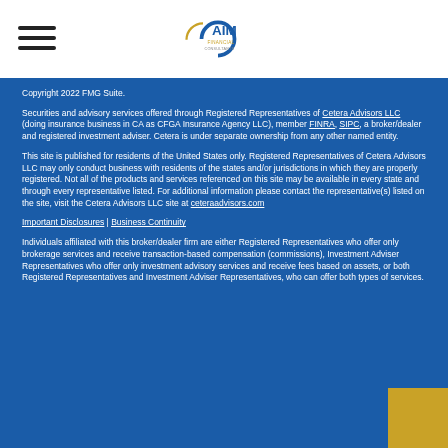AIM Financial Consultants logo and navigation menu
Copyright 2022 FMG Suite.
Securities and advisory services offered through Registered Representatives of Cetera Advisors LLC (doing insurance business in CA as CFGA Insurance Agency LLC), member FINRA, SIPC, a broker/dealer and registered investment adviser. Cetera is under separate ownership from any other named entity.
This site is published for residents of the United States only. Registered Representatives of Cetera Advisors LLC may only conduct business with residents of the states and/or jurisdictions in which they are properly registered. Not all of the products and services referenced on this site may be available in every state and through every representative listed. For additional information please contact the representative(s) listed on the site, visit the Cetera Advisors LLC site at ceteraadvisors.com
Important Disclosures | Business Continuity
Individuals affiliated with this broker/dealer firm are either Registered Representatives who offer only brokerage services and receive transaction-based compensation (commissions), Investment Adviser Representatives who offer only investment advisory services and receive fees based on assets, or both Registered Representatives and Investment Adviser Representatives, who can offer both types of services.